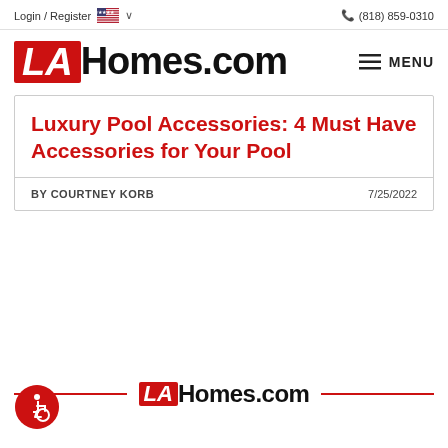Login / Register  (818) 859-0310
[Figure (logo): LAHomes.com logo large with red LA box and black Homes.com text, with hamburger MENU button on right]
Luxury Pool Accessories: 4 Must Have Accessories for Your Pool
BY COURTNEY KORB   7/25/2022
[Figure (logo): LAHomes.com footer logo centered with red horizontal lines on both sides]
[Figure (illustration): Accessibility wheelchair icon in a red circle, bottom left]